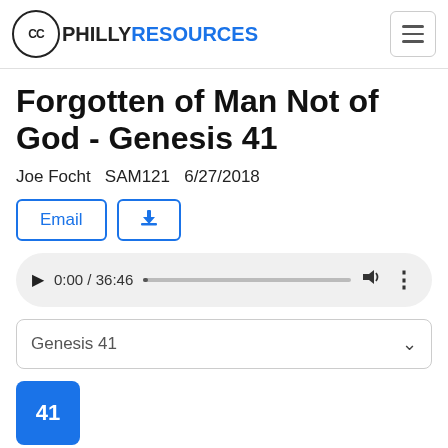CC PHILLY RESOURCES
Forgotten of Man Not of God - Genesis 41
Joe Focht  SAM121  6/27/2018
[Figure (other): Email button and download button]
[Figure (other): Audio player showing 0:00 / 36:46 with progress bar, volume icon, and options icon]
[Figure (other): Dropdown selector showing Genesis 41]
41
And it came to pass at the end of two full years, that Pharaoh dreamed: and, behold, he stood by the river.